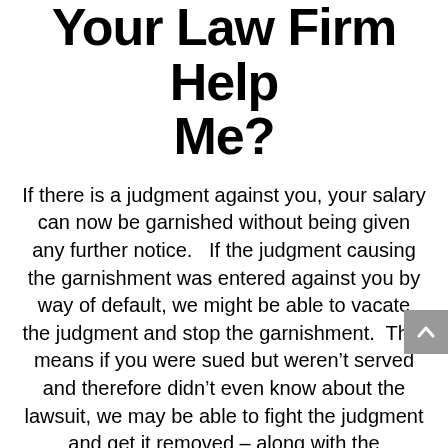Your Law Firm Help Me?
If there is a judgment against you, your salary can now be garnished without being given any further notice.   If the judgment causing the garnishment was entered against you by way of default, we might be able to vacate the judgment and stop the garnishment.  That means if you were sued but weren't served and therefore didn't even know about the lawsuit, we may be able to fight the judgment and get it removed – along with the garnishment.  If the judgment is valid and you were served correctly but didn't defend yourself or did defend and lost the case, then we can still help in other ways.